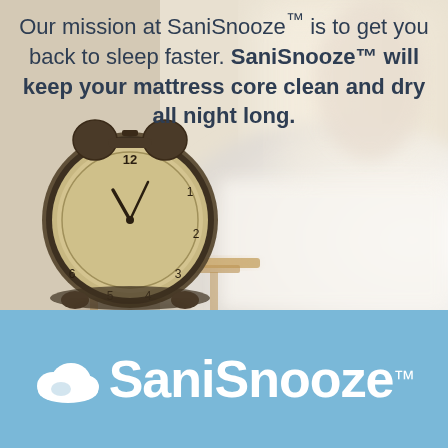[Figure (photo): Bedroom scene with an analog alarm clock on a nightstand in the foreground (warm brown tones), blurred white bedding and soft light in the background. The photo fills the upper ~69% of the page.]
Our mission at SaniSnooze™ is to get you back to sleep faster. SaniSnooze™ will keep your mattress core clean and dry all night long.
[Figure (logo): SaniSnooze™ logo on a light blue background. White cloud/pillow icon on the left, followed by the brand name 'SaniSnooze' in large white bold sans-serif text with a TM superscript.]